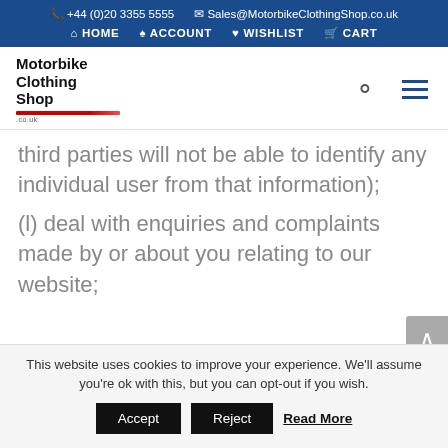+44 (0)20 3355 5555  Sales@MotorbikeClothingShop.co.uk  HOME  ACCOUNT  WISHLIST  CART
[Figure (logo): Motorbike Clothing Shop logo with red underline and search/menu icons]
third parties will not be able to identify any individual user from that information);
(l) deal with enquiries and complaints made by or about you relating to our website;
This website uses cookies to improve your experience. We'll assume you're ok with this, but you can opt-out if you wish.